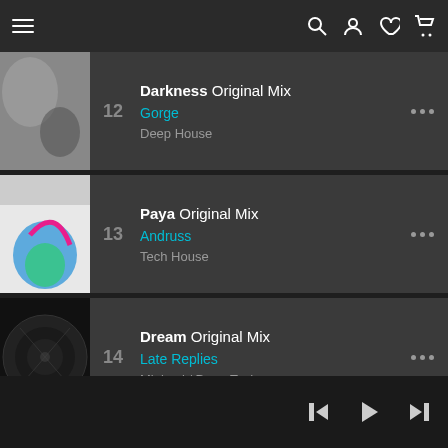[Figure (screenshot): Music streaming app top navigation bar with hamburger menu, search, account, favorites, and cart icons]
12 Darkness Original Mix — Gorge — Deep House
13 Paya Original Mix — Andruss — Tech House
14 Dream Original Mix — Late Replies — Minimal / Deep Tech
[Figure (screenshot): Music player bottom bar with previous, play, and next track controls]